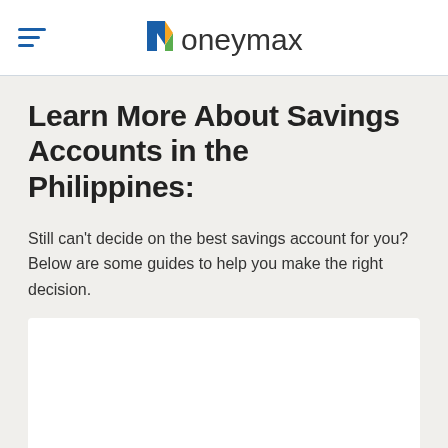Moneymax
Learn More About Savings Accounts in the Philippines:
Still can't decide on the best savings account for you? Below are some guides to help you make the right decision.
[Figure (other): White content card/box placeholder at the bottom of the page]